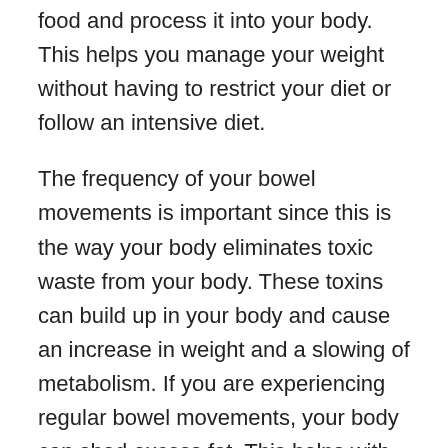food and process it into your body. This helps you manage your weight without having to restrict your diet or follow an intensive diet.
The frequency of your bowel movements is important since this is the way your body eliminates toxic waste from your body. These toxins can build up in your body and cause an increase in weight and a slowing of metabolism. If you are experiencing regular bowel movements, your body can shed excess fat. This helps with weight-management and also helps in shedding excess fat.
Because your digestive system operates optimally and is functioning at its best, probiotics help you move your bowels. Because it